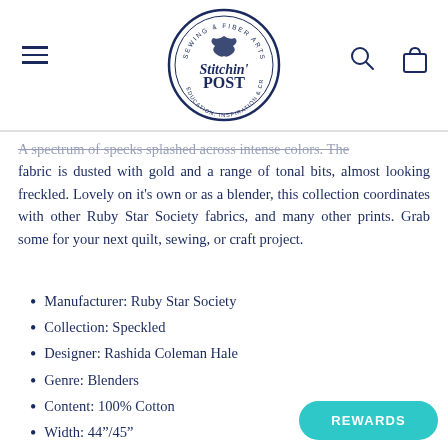Stitchin' Post — Sewing & Fiber Arts
A spectrum of specks splashed across intense colors. The fabric is dusted with gold and a range of tonal bits, almost looking freckled. Lovely on it's own or as a blender, this collection coordinates with other Ruby Star Society fabrics, and many other prints. Grab some for your next quilt, sewing, or craft project.
Manufacturer: Ruby Star Society
Collection: Speckled
Designer: Rashida Coleman Hale
Genre: Blenders
Content: 100% Cotton
Width: 44"/45"
Color: Neon Pink, Metallic, Pink